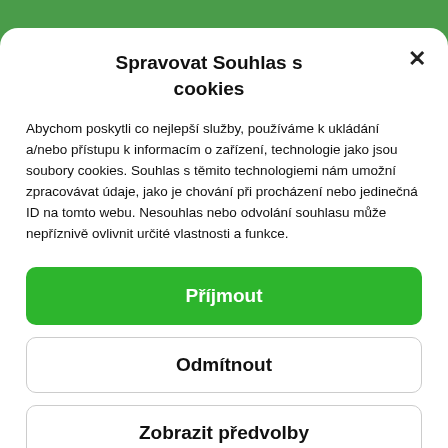Spravovat Souhlas s cookies
Abychom poskytli co nejlepší služby, používáme k ukládání a/nebo přístupu k informacím o zařízení, technologie jako jsou soubory cookies. Souhlas s těmito technologiemi nám umožní zpracovávat údaje, jako je chování při procházení nebo jedinečná ID na tomto webu. Nesouhlas nebo odvolání souhlasu může nepříznivě ovlivnit určité vlastnosti a funkce.
Příjmout
Odmítnout
Zobrazit předvolby
Zásady cookies